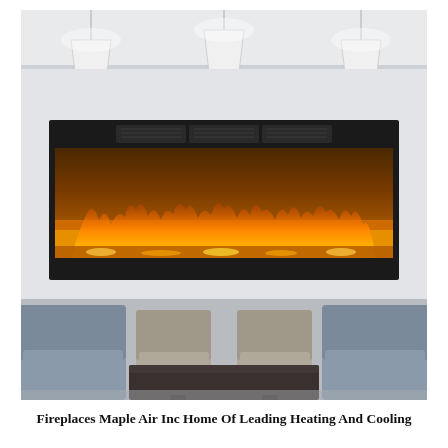[Figure (photo): Interior room photo showing a wide wall-mounted electric fireplace with orange/yellow flames displayed on a white wall. Three modern white conical pendant lights hang from the ceiling. Below the fireplace is a dark dining table with gray upholstered chairs on either side.]
Fireplaces Maple Air Inc Home Of Leading Heating And Cooling